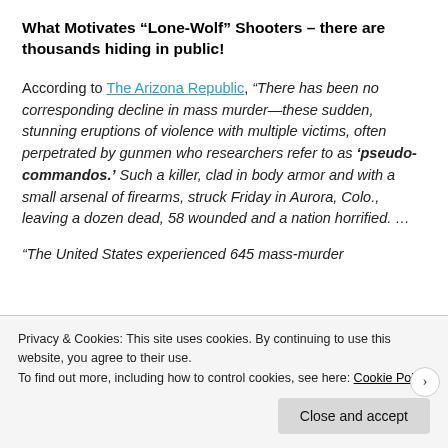What Motivates “Lone-Wolf” Shooters – there are thousands hiding in public!
According to The Arizona Republic, “There has been no corresponding decline in mass murder—these sudden, stunning eruptions of violence with multiple victims, often perpetrated by gunmen who researchers refer to as ‘pseudo-commandos.’ Such a killer, clad in body armor and with a small arsenal of firearms, struck Friday in Aurora, Colo., leaving a dozen dead, 58 wounded and a nation horrified. …
“The United States experienced 645 mass-murder
Privacy & Cookies: This site uses cookies. By continuing to use this website, you agree to their use.
To find out more, including how to control cookies, see here: Cookie Policy